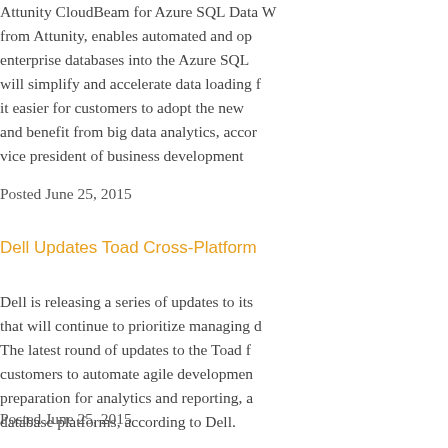Attunity CloudBeam for Azure SQL Data W from Attunity, enables automated and op enterprise databases into the Azure SQL will simplify and accelerate data loading f it easier for customers to adopt the new and benefit from big data analytics, accor vice president of business development
Posted June 25, 2015
Dell Updates Toad Cross-Platform
Dell is releasing a series of updates to its that will continue to prioritize managing d The latest round of updates to the Toad f customers to automate agile developmen preparation for analytics and reporting, a database platforms, according to Dell.
Posted June 25, 2015